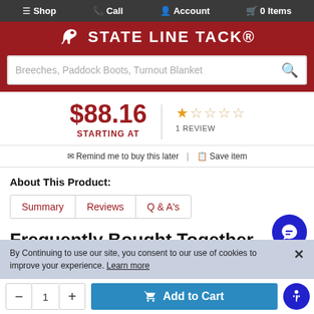≡ Shop  Call  Account  0 Items
[Figure (logo): State Line Tack logo with horse icon on dark red background]
Breeches, Paddock Boots, Turnout Blanket (search bar placeholder)
$88.16 STARTING AT | 1 REVIEW (1 star out of 5)
✉ Remind me to buy this later  📋 Save item
About This Product:
Summary   Reviews   Q & A's
Frequently Bought Together
By Continuing to use our site, you consent to our use of cookies to improve your experience. Learn more
−  1  +  Add to Cart